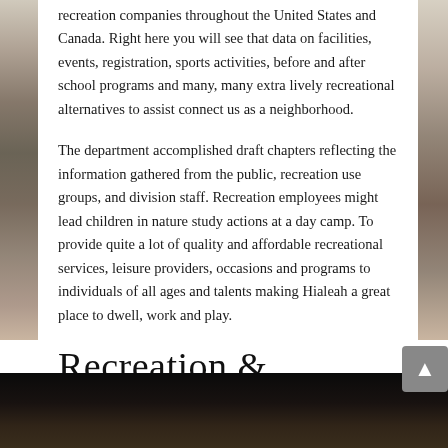recreation companies throughout the United States and Canada. Right here you will see that data on facilities, events, registration, sports activities, before and after school programs and many, many extra lively recreational alternatives to assist connect us as a neighborhood.
The department accomplished draft chapters reflecting the information gathered from the public, recreation use groups, and division staff. Recreation employees might lead children in nature study actions at a day camp. To provide quite a lot of quality and affordable recreational services, leisure providers, occasions and programs to individuals of all ages and talents making Hialeah a great place to dwell, work and play.
Recreation & Athletics
[Figure (photo): Dark photo at the bottom of the page showing people or figures, partially visible]